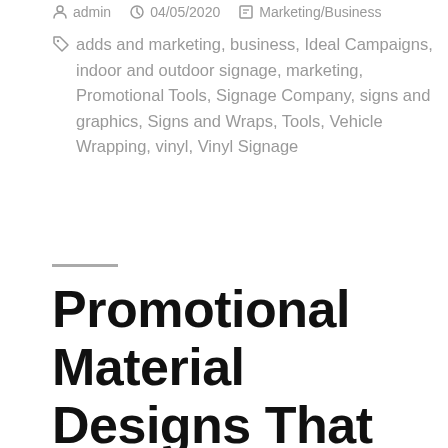admin  04/05/2020  Marketing/Business
adds and marketing, business, Ideal Campaigns, indoor and outdoor signage, marketing, Promotional Tools, Signage Company, signs and graphics, Signs and Wraps, Tools, Vehicle Wrapping, vinyl, Vinyl Signage
Promotional Material Designs That Stand Out